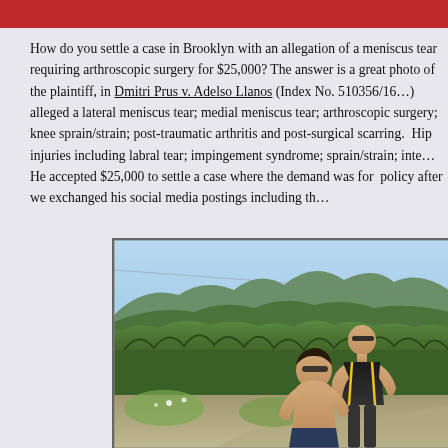How do you settle a case in Brooklyn with an allegation of a meniscus tear requiring arthroscopic surgery for $25,000? The answer is a great photo of the plaintiff, in Dmitri Prus v. Adelso Llanos (Index No. 510356/16), alleged a lateral meniscus tear; medial meniscus tear; arthroscopic surgery; knee sprain/strain; post-traumatic arthritis and post-surgical scarring. Hip injuries including labral tear; impingement syndrome; sprain/strain; inter alia. He accepted $25,000 to settle a case where the demand was for the policy after we exchanged his social media postings including th
[Figure (photo): Outdoor photo showing two people (one shirtless person in front, one person in black shirt behind) in a forested mountain landscape with green hills and trees in the background on a sunny day.]